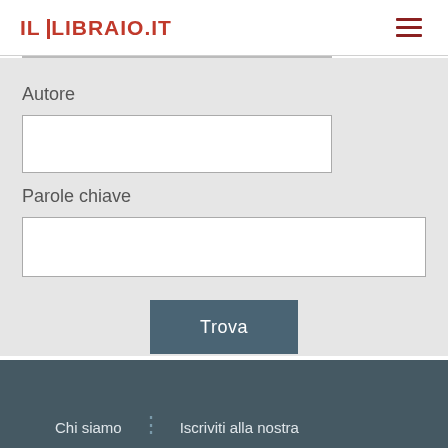IL LIBRAIO.IT
Autore
Parole chiave
Trova
Chi siamo · Iscriviti alla nostra